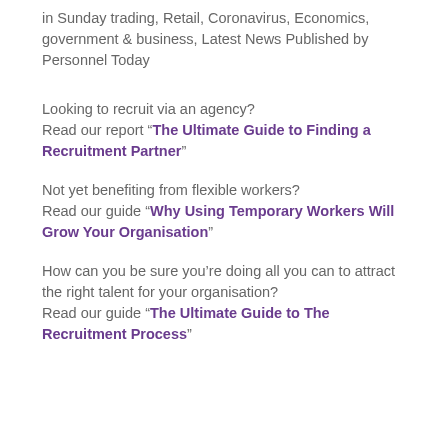in Sunday trading, Retail, Coronavirus, Economics, government & business, Latest News Published by Personnel Today
Looking to recruit via an agency?
Read our report “The Ultimate Guide to Finding a Recruitment Partner”
Not yet benefiting from flexible workers?
Read our guide “Why Using Temporary Workers Will Grow Your Organisation”
How can you be sure you’re doing all you can to attract the right talent for your organisation?
Read our guide “The Ultimate Guide to The Recruitment Process”